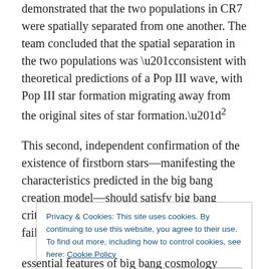demonstrated that the two populations in CR7 were spatially separated from one another. The team concluded that the spatial separation in the two populations was “consistent with theoretical predictions of a Pop III wave, with Pop III star formation migrating away from the original sites of star formation.”²
This second, independent confirmation of the existence of firstborn stars—manifesting the characteristics predicted in the big bang creation model—should satisfy big bang critics who have insisted that astronomers’ failure to detect
Privacy & Cookies: This site uses cookies. By continuing to use this website, you agree to their use.
To find out more, including how to control cookies, see here: Cookie Policy
essential features of big bang cosmology thousands of